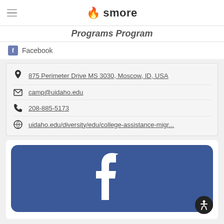smore
Programs Program (partially visible)
Facebook
875 Perimeter Drive MS 3030, Moscow, ID, USA
camp@uidaho.edu
208-885-5173
uidaho.edu/diversity/edu/college-assistance-migr...
[Figure (logo): Facebook logo - large blue square with white 'f' letter on blue background, rounded corners]